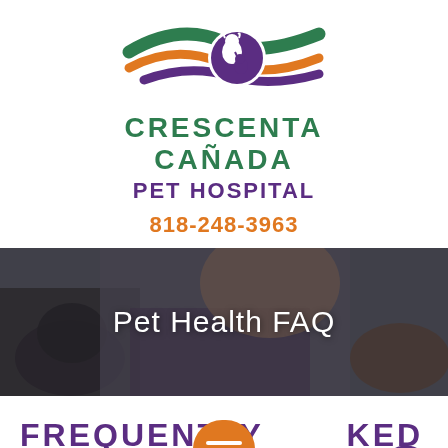[Figure (logo): Crescenta Cañada Pet Hospital logo with swoosh waves in green, orange, and purple, and a circular emblem with dog and cat silhouettes]
CRESCENTA CAÑADA PET HOSPITAL
818-248-3963
[Figure (photo): Smiling veterinarian in purple scrubs holding two puppies, overlaid with semi-transparent dark background and 'Pet Health FAQ' text]
Pet Health FAQ
FREQUENTLY ASKED QUESTIONS ABOUT PET